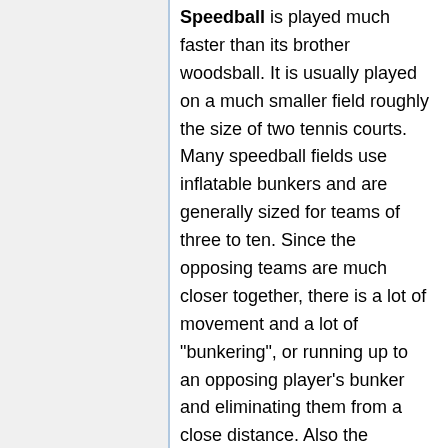Speedball is played much faster than its brother woodsball. It is usually played on a much smaller field roughly the size of two tennis courts. Many speedball fields use inflatable bunkers and are generally sized for teams of three to ten. Since the opposing teams are much closer together, there is a lot of movement and a lot of "bunkering", or running up to an opposing player's bunker and eliminating them from a close distance. Also the markers are generally much faster, smaller, lighter and more expensive than woodsball markers.
Due to the team based rule enforced action, speedball is the perfect basis for tournaments, and many leagues exist. The three big national tournaments are the NPPL, PSP, and NXL, with many